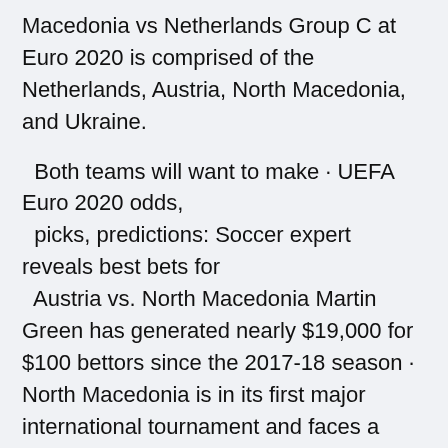Macedonia vs Netherlands Group C at Euro 2020 is comprised of the Netherlands, Austria, North Macedonia, and Ukraine.
Both teams will want to make · UEFA Euro 2020 odds, picks, predictions: Soccer expert reveals best bets for Austria vs. North Macedonia Martin Green has generated nearly $19,000 for $100 bettors since the 2017-18 season · North Macedonia is in its first major international tournament and faces a familiar foe on Sunday when it takes on Austria in a 2020 UEFA European Championship group-stage match. Austria won both meetings between the teams in qualifying for Euro 2020, which is starting almost a year late because of the pandemic. · Groups C and D in Euro 2020 get underway Sunday. England takes on Croatia in a highly anticipated rematch of the 2018 World Cup semifinal